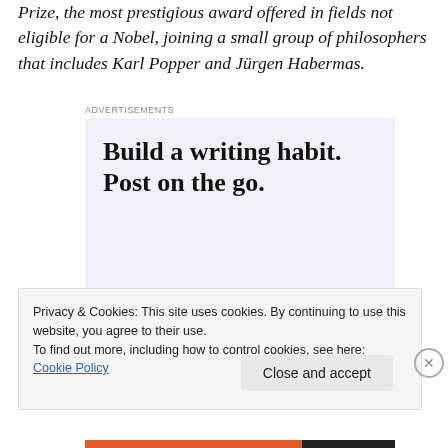Prize, the most prestigious award offered in fields not eligible for a Nobel, joining a small group of philosophers that includes Karl Popper and Jürgen Habermas.
[Figure (other): WordPress advertisement: 'Build a writing habit. Post on the go.' with a 'GET THE APP' call to action and WordPress logo]
Privacy & Cookies: This site uses cookies. By continuing to use this website, you agree to their use.
To find out more, including how to control cookies, see here: Cookie Policy
Close and accept